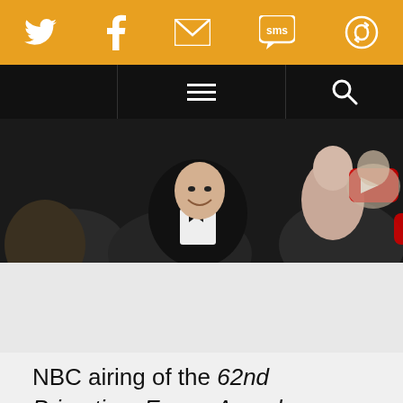[Social share toolbar: Twitter, Facebook, Email, SMS, other]
[Navigation bar with hamburger menu and search]
[Figure (photo): A crowd scene at an awards ceremony, a smiling man in a tuxedo visible in the foreground with a red YouTube-like logo overlay; audience members visible in background.]
NBC airing of the 62nd Primetime Emmy Awards marked the first time the event was shown li[ve in] all time zones. Jimmy Fallon hosts the show t[o] warm reviews, especially for his hilarious tribute to